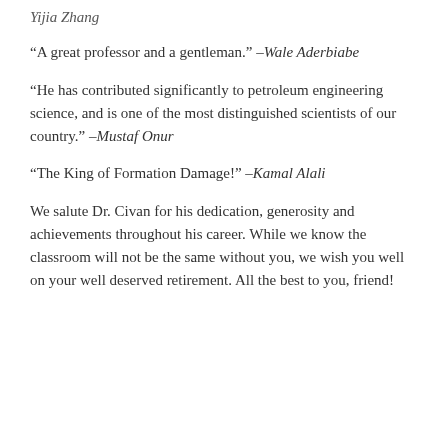Yijia Zhang
“A great professor and a gentleman.” –Wale Aderbiabe
“He has contributed significantly to petroleum engineering science, and is one of the most distinguished scientists of our country.” –Mustaf Onur
“The King of Formation Damage!” –Kamal Alali
We salute Dr. Civan for his dedication, generosity and achievements throughout his career. While we know the classroom will not be the same without you, we wish you well on your well deserved retirement. All the best to you, friend!